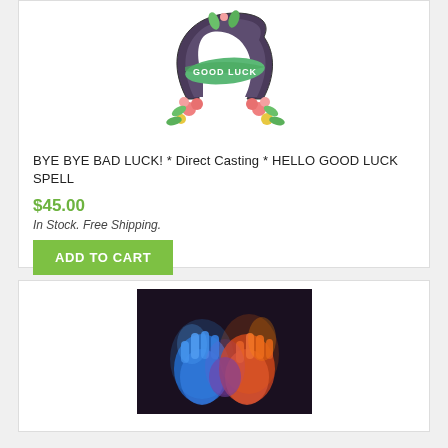[Figure (illustration): Good luck horseshoe illustration with floral decoration and green banner reading GOOD LUCK]
BYE BYE BAD LUCK! * Direct Casting * HELLO GOOD LUCK SPELL
$45.00
In Stock. Free Shipping.
ADD TO CART
[Figure (photo): Two hands - one blue (water/ice) and one orange (fire) - clasped together against a dark background]